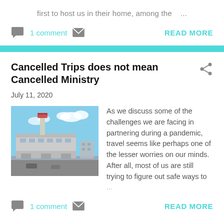first to host us in their home, among the ...
1 comment
READ MORE
Cancelled Trips does not mean Cancelled Ministry
July 11, 2020
[Figure (photo): Photo of an airport terminal building with a control tower, sunny sky with clouds]
As we discuss some of the challenges we are facing in partnering during a pandemic, travel seems like perhaps one of the lesser worries on our minds.  After all, most of us are still trying to figure out safe ways to ...
1 comment
READ MORE